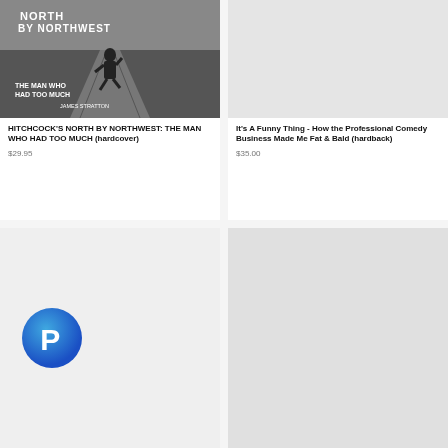[Figure (photo): Book cover of 'Hitchcock's North By Northwest: The Man Who Had Too Much' (hardcover) — black and white image of a man running on a dirt road, with bold white text overlaid.]
HITCHCOCK'S NORTH BY NORTHWEST: THE MAN WHO HAD TOO MUCH (hardcover)
$29.95
[Figure (photo): Placeholder image area for 'It's A Funny Thing - How the Professional Comedy Business Made Me Fat & Bald (hardback)' — light gray background.]
It's A Funny Thing - How the Professional Comedy Business Made Me Fat & Bald (hardback)
$35.00
[Figure (logo): PayPal logo — circular blue gradient icon with white 'P' letter.]
[Figure (photo): Placeholder image area — light gray background, bottom right card.]